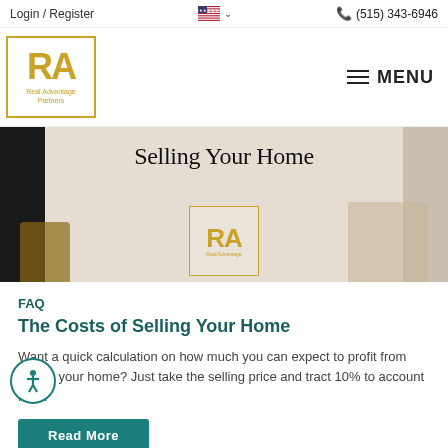Login / Register   (515) 343-6946
[Figure (logo): Real Advantage Partners logo — gold RA letters in a gold-bordered box with text 'Real Advantage Partners']
[Figure (photo): Hero banner showing interior living room with overlay text 'Selling Your Home' and Real Advantage Partners logo watermark]
FAQ
The Costs of Selling Your Home
Want a quick calculation on how much you can expect to profit from selling your home? Just take the selling price and tract 10% to account for ...